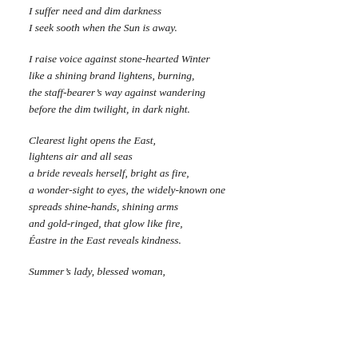I suffer need and dim darkness
I seek sooth when the Sun is away.
I raise voice against stone-hearted Winter
like a shining brand lightens, burning,
the staff-bearer's way against wandering
before the dim twilight, in dark night.
Clearest light opens the East,
lightens air and all seas
a bride reveals herself, bright as fire,
a wonder-sight to eyes, the widely-known one
spreads shine-hands, shining arms
and gold-ringed, that glow like fire,
Éastre in the East reveals kindness.
Summer's lady, blessed woman,